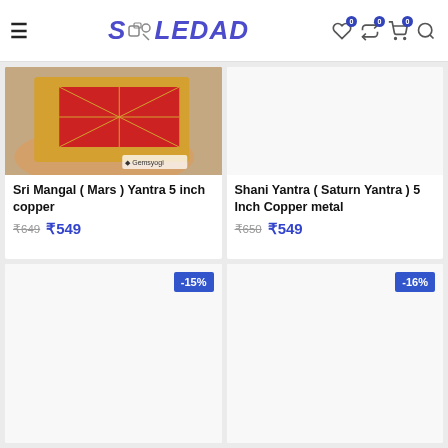SOLEDAD — e-commerce header with hamburger menu, logo, wishlist, compare, cart, and search icons
[Figure (photo): Hand holding a golden copper yantra card with red triangular grid pattern (Sri Mangal Mars Yantra), with Gemsyogi watermark]
Sri Mangal ( Mars ) Yantra 5 inch copper
₹649  ₹549
[Figure (photo): Shani Yantra (Saturn Yantra) product image placeholder — white/blank area]
Shani Yantra ( Saturn Yantra ) 5 Inch Copper metal
₹650  ₹549
[Figure (photo): Product image placeholder with -15% discount badge]
[Figure (photo): Product image placeholder with -16% discount badge]